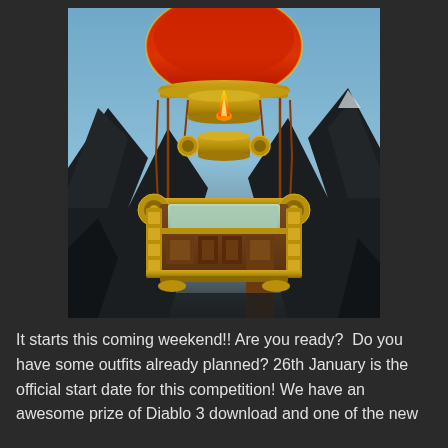[Figure (screenshot): A World of Warcraft in-game screenshot showing a decorative hot air balloon with a red lantern-style envelope, ornate golden gondola, and red rope rigging, viewed from below against a blue sky with dark rocky mountains in the background.]
It starts this coming weekend!! Are you ready?  Do you have some outfits already planned? 26th January is the official start date for this competition! We have an awesome prize of Diablo 3 download and one of the new